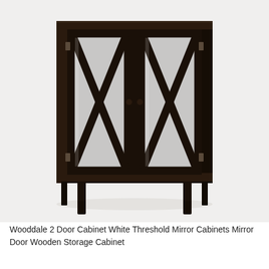[Figure (photo): A dark espresso/black wooden two-door cabinet (Wooddale 2 Door Cabinet) with mirrored glass panels on each door featuring decorative X-shaped mullion trim. The cabinet has tapered legs and small metal hinges. The background is white/light gray.]
Wooddale 2 Door Cabinet White Threshold Mirror Cabinets Mirror Door Wooden Storage Cabinet